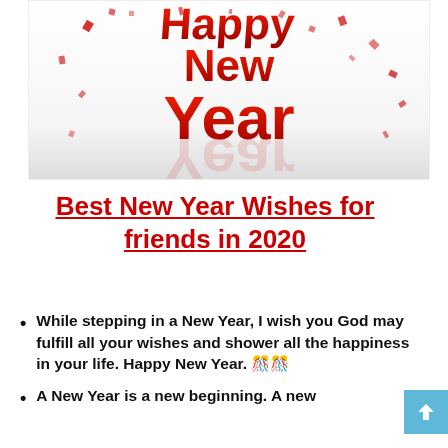[Figure (illustration): 3D red bold text 'Happy New Year' with red confetti scattered around on a white/light background]
Best New Year Wishes for friends in 2020
While stepping in a New Year, I wish you God may fulfill all your wishes and shower all the happiness in your life. Happy New Year. 🎊🎊
A New Year is a new beginning. A new...